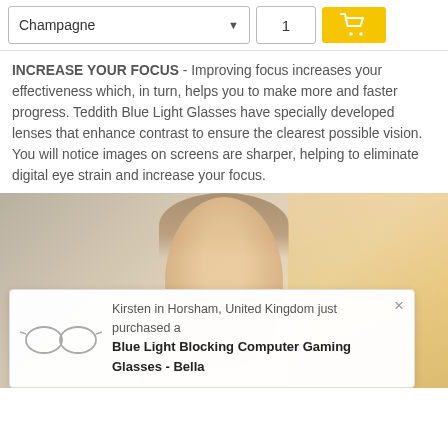[Figure (screenshot): E-commerce product page UI showing a dropdown selector set to 'Champagne', a quantity input box showing '1', and a yellow cart button with shopping cart icon]
INCREASE YOUR FOCUS - Improving focus increases your effectiveness which, in turn, helps you to make more and faster progress. Teddith Blue Light Glasses have specially developed lenses that enhance contrast to ensure the clearest possible vision. You will notice images on screens are sharper, helping to eliminate digital eye strain and increase your focus.
[Figure (photo): Photo of a woman with blonde hair, blurred background, partially visible]
Kirsten in Horsham, United Kingdom just purchased a Blue Light Blocking Computer Gaming Glasses - Bella